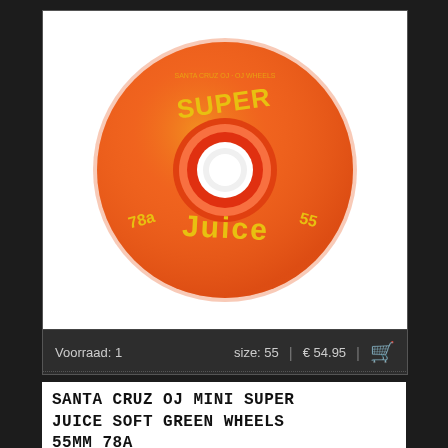[Figure (photo): Orange skateboard wheel with yellow 'Super Juice' branding, 78a hardness, 55mm size]
Voorraad: 1    size: 55  |  € 54.95  |  [cart]
SANTA CRUZ OJ MINI SUPER JUICE SOFT GREEN WHEELS 55MM 78A